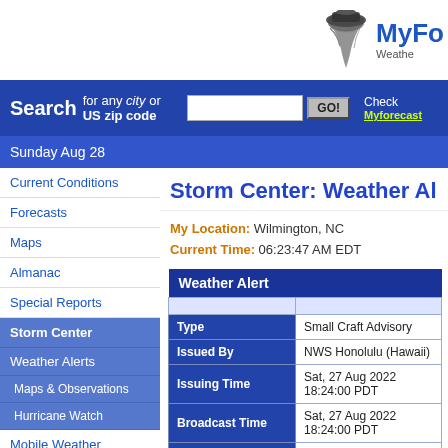MyFo Weather
Search for any city or US zip code [search input] GO! Check Myforecast
Sunday Aug 28
Current Conditions
Forecasts
Maps
Almanac
Special Reports
Storm Center
Weather Alerts
Maps & Observations
Hurricane Watch
Mobile Weather
Marine Reports
Ski Reports
Weather On Your Site
Storm Center: Weather Al
My Location: Wilmington, NC
Current Time: 06:23:47 AM EDT
| Weather Alert |  |
| --- | --- |
|  |  |
| Type | Small Craft Advisory |
| Issued By | NWS Honolulu (Hawaii) |
| Issuing Time | Sat, 27 Aug 2022 18:24:00 PDT |
| Broadcast Time | Sat, 27 Aug 2022 18:24:00 PDT |
| Valid Until | Sun, 28 Aug 2022 09:00:00 PDT |